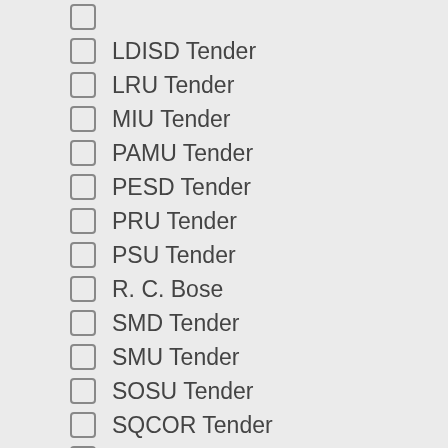LDISD Tender
LRU Tender
MIU Tender
PAMU Tender
PESD Tender
PRU Tender
PSU Tender
R. C. Bose
SMD Tender
SMU Tender
SOSU Tender
SQCOR Tender
SQCORD News
SRU Tender
SSD Tender
Submit